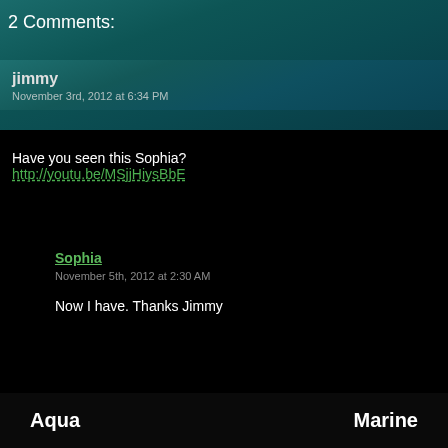2 Comments:
jimmy
November 3rd, 2012 at 6:34 PM
Have you seen this Sophia?
http://youtu.be/MSjjHiysBbE
Sophia
November 5th, 2012 at 2:30 AM
Now I have. Thanks Jimmy
Aqua   Marine